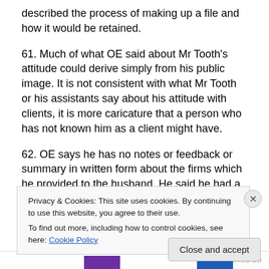described the process of making up a file and how it would be retained.
61. Much of what OE said about Mr Tooth's attitude could derive simply from his public image. It is not consistent with what Mr Tooth or his assistants say about his attitude with clients, it is more caricature that a person who has not known him as a client might have.
62. OE says he has no notes or feedback or summary in written form about the firms which he provided to the husband. He said he had a telephone call with him. He
Privacy & Cookies: This site uses cookies. By continuing to use this website, you agree to their use.
To find out more, including how to control cookies, see here: Cookie Policy